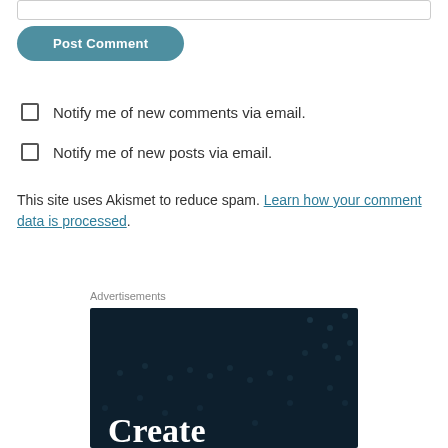[Figure (screenshot): Input text field (partially visible at top)]
Post Comment
Notify me of new comments via email.
Notify me of new posts via email.
This site uses Akismet to reduce spam. Learn how your comment data is processed.
Advertisements
[Figure (screenshot): Dark navy advertisement banner with scattered dot pattern and large white serif text reading 'Create']